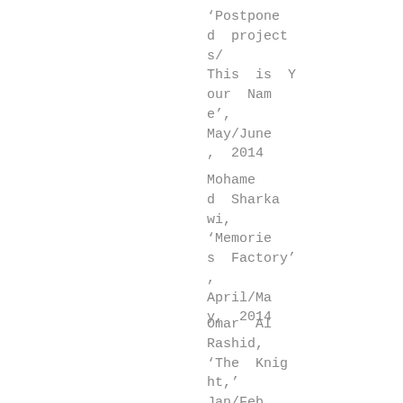'Postponed projects/ This is Your Name', May/June, 2014
Mohamed Sharkawi, 'Memories Factory', April/May, 2014
Omar Al Rashid, 'The Knight,' Jan/Feb, 2014